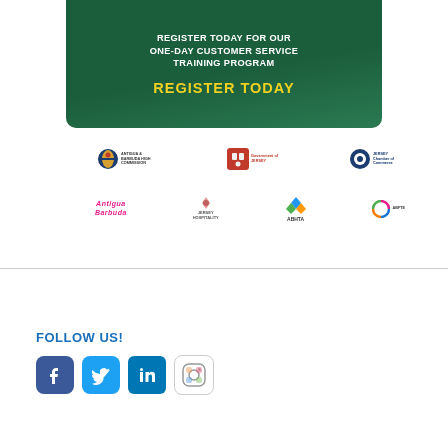[Figure (infographic): Dark green banner with text: REGISTER TODAY FOR OUR ONE-DAY CUSTOMER SERVICE TRAINING PROGRAM and REGISTER TODAY in yellow bold text]
[Figure (infographic): Row of sponsor/partner logos: Antigua & Barbuda High Commission, Government of Jersey, Jersey Chamber of Commerce]
[Figure (infographic): Row of sponsor/partner logos: Antigua Barbuda (pink text), Jersey Hospitality Association, ABHTA, ABFTE]
FOLLOW US!
[Figure (infographic): Social media icons: Facebook, Twitter, LinkedIn, Instagram]